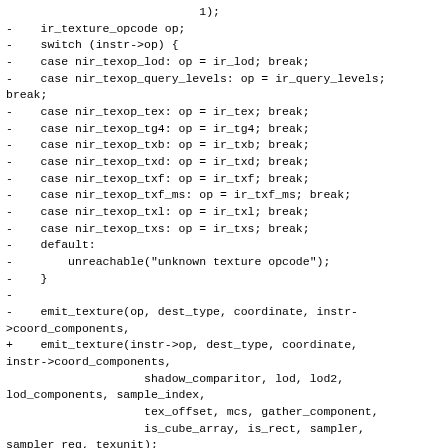1);
-    ir_texture_opcode op;
-    switch (instr->op) {
-    case nir_texop_lod: op = ir_lod; break;
-    case nir_texop_query_levels: op = ir_query_levels; break;
-    case nir_texop_tex: op = ir_tex; break;
-    case nir_texop_tg4: op = ir_tg4; break;
-    case nir_texop_txb: op = ir_txb; break;
-    case nir_texop_txd: op = ir_txd; break;
-    case nir_texop_txf: op = ir_txf; break;
-    case nir_texop_txf_ms: op = ir_txf_ms; break;
-    case nir_texop_txl: op = ir_txl; break;
-    case nir_texop_txs: op = ir_txs; break;
-    default:
-        unreachable("unknown texture opcode");
-    }
-
-    emit_texture(op, dest_type, coordinate, instr->coord_components,
+    emit_texture(instr->op, dest_type, coordinate, instr->coord_components,
                    shadow_comparitor, lod, lod2, lod_components, sample_index,
                    tex_offset, mcs, gather_component,
                    is_cube_array, is_rect, sampler, sampler_reg, texunit);
diff --git a/src/mesa/drivers/dri/i965/brw_fs_visitor.cpp